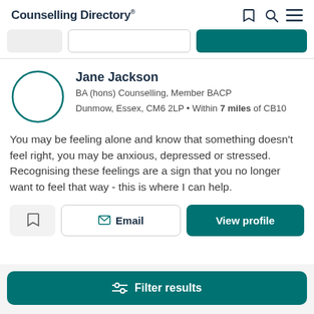Counselling Directory
[Figure (screenshot): Profile card for Jane Jackson, counsellor listing on Counselling Directory website]
Jane Jackson
BA (hons) Counselling, Member BACP
Dunmow, Essex, CM6 2LP • Within 7 miles of CB10
You may be feeling alone and know that something doesn't feel right, you may be anxious, depressed or stressed. Recognising these feelings are a sign that you no longer want to feel that way - this is where I can help.
Filter results